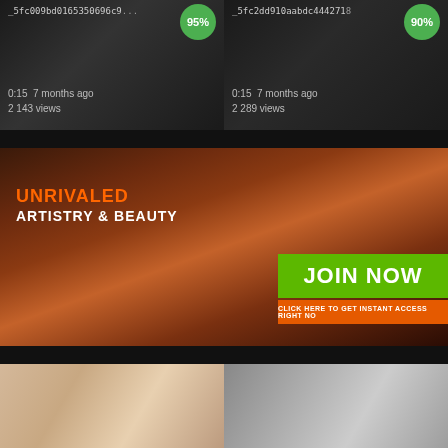[Figure (screenshot): Video thumbnail card left: filename _5fc009bd0165350696c9... with 95% green badge, 0:15 7 months ago, 2 143 views]
[Figure (screenshot): Video thumbnail card right: filename _5fc2dd910aabdc4442718... with 90% green badge, 0:15 7 months ago, 2 289 views]
[Figure (photo): Large banner photo of a woman's face close-up with orange/warm tones, with UNRIVALED text in orange and ARTISTRY & BEAUTY in white, JOIN NOW green button, and CLICK HERE TO GET INSTANT ACCESS RIGHT NOW orange bar]
[Figure (photo): Bottom left thumbnail: warm skin-tone close-up image]
[Figure (photo): Bottom right thumbnail: woman with blonde hair in grey/bathroom setting]